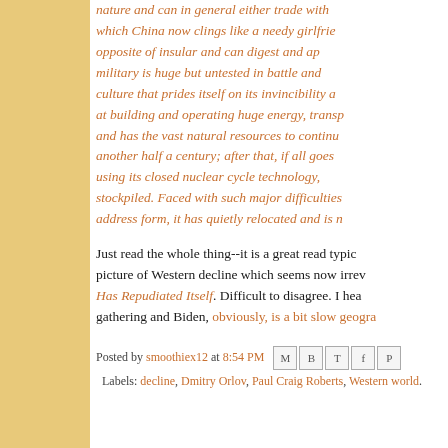nature and can in general either trade with which China now clings like a needy girlfrie opposite of insular and can digest and ap military is huge but untested in battle and culture that prides itself on its invincibility a at building and operating huge energy, trans and has the vast natural resources to continu another half a century; after that, if all goes using its closed nuclear cycle technology, stockpiled. Faced with such major difficulties address form, it has quietly relocated and is n
Just read the whole thing--it is a great read typic picture of Western decline which seems now irrev Has Repudiated Itself. Difficult to disagree. I hea gathering and Biden, obviously, is a bit slow geogra
Posted by smoothiex12 at 8:54 PM   Labels: decline, Dmitry Orlov, Paul Craig Roberts, Western world.